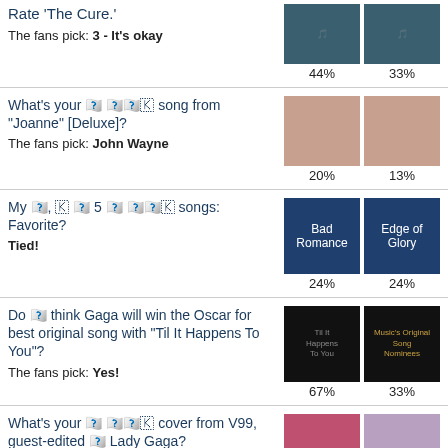Rate 'The Cure.'
The fans pick: 3 - It's okay
[Figure (other): Two album cover thumbnails with 44% and 33% labels]
What's your [top favorite] song from "Joanne" [Deluxe]?
The fans pick: John Wayne
[Figure (other): Two Joanne album cover thumbnails with 20% and 13% labels]
My [top], [of top] 5 [of Gaga's] songs: Favorite?
Tied!
[Figure (other): Two colored tiles: Bad Romance 24% and Edge of Glory 24%]
Do [you] think Gaga will win the Oscar for best original song with "Til It Happens To You"?
The fans pick: Yes!
[Figure (other): Two dark thumbnails - song cover and Oscars nominees with 67% and 33%]
What's your [top favorite] cover from V99, guest-edited [by] Lady Gaga?
The fans pick: GAGA / DAPHNE cover
[Figure (other): Two V99 cover thumbnails with 40% and 20%]